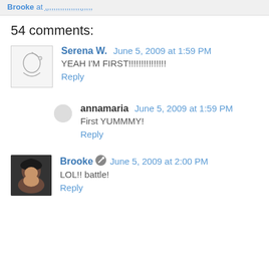Brooke at ,,,,,,,,,,,,,,,,,,,,,,
54 comments:
Serena W. June 5, 2009 at 1:59 PM
YEAH I'M FIRST!!!!!!!!!!!!!!!
Reply
annamaria June 5, 2009 at 1:59 PM
First YUMMMY!
Reply
Brooke June 5, 2009 at 2:00 PM
LOL!! battle!
Reply